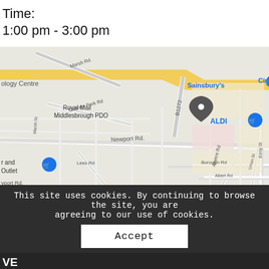Time:
1:00 pm - 3:00 pm
[Figure (map): Google Maps screenshot showing Middlesbrough town centre area with markers for Sainsbury's, Royal Mail Middlesbrough PDO, ALDI, Hill Street Shopping Centre, Middlesbrough Town Hall, Holiday Inn Express Middlesbrough, and other landmarks. Roads visible include Newport Rd, Cannon Park Rd, Marsh Rd, B1272, Borough Rd, Lees Rd, Alwent Rd, Union St, Emily St, Albert Rd.]
This site uses cookies. By continuing to browse the site, you are agreeing to our use of cookies.
Accept
VE
Hope Cafe
1 Grange Road